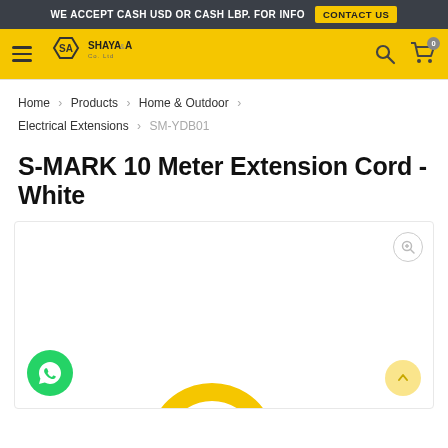WE ACCEPT CASH USD OR CASH LBP. FOR INFO  CONTACT US
[Figure (logo): Shaya & Azar logo with hexagon SA emblem on yellow navigation bar with hamburger menu, search icon, and cart icon showing 0 items]
Home > Products > Home & Outdoor > Electrical Extensions > SM-YDB01
S-MARK 10 Meter Extension Cord - White
[Figure (photo): Product image area with white background showing a yellow loading spinner arc, a zoom button in top-right corner, WhatsApp chat button (green circle) in bottom-left, and scroll-to-top button (yellow circle with up arrow) in bottom-right]